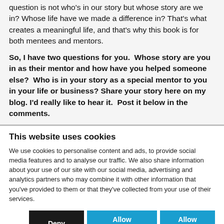question is not who's in our story but whose story are we in? Whose life have we made a difference in? That's what creates a meaningful life, and that's why this book is for both mentees and mentors.
So, I have two questions for you. Whose story are you in as their mentor and how have you helped someone else? Who is in your story as a special mentor to you in your life or business? Share your story here on my blog. I'd really like to hear it. Post it below in the comments.
This website uses cookies
We use cookies to personalise content and ads, to provide social media features and to analyse our traffic. We also share information about your use of our site with our social media, advertising and analytics partners who may combine it with other information that you've provided to them or that they've collected from your use of their services.
Deny | Allow selection | Allow all
Necessary  Preferences  Statistics  Marketing  Show details